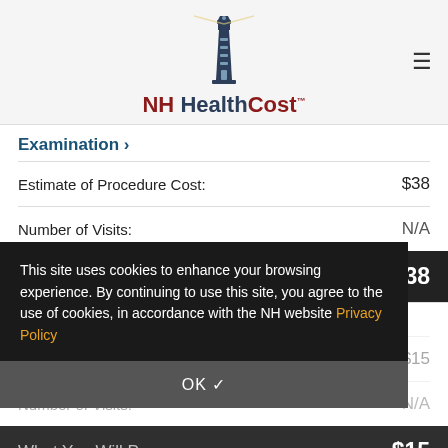[Figure (logo): NH HealthCost lighthouse logo with text]
Examination >
| Label | Value |
| --- | --- |
| Estimate of Procedure Cost: | $38 |
| Number of Visits: | N/A |
| What You Will Pay: | $38 |
Urinalysis; Automated without Microscope >
| Label | Value |
| --- | --- |
| Estimate of Procedure Cost: | $15 |
| Number of Visits: | N/A |
| What You Will Pay: | $15 |
This site uses cookies to enhance your browsing experience. By continuing to use this site, you agree to the use of cookies, in accordance with the NH website Privacy Policy
OK ✓